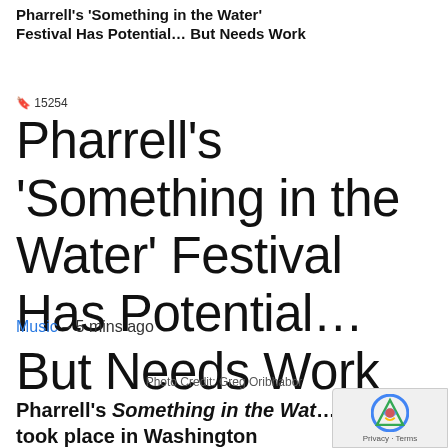Pharrell's 'Something in the Water' Festival Has Potential… But Needs Work
🔖 15254
Pharrell's 'Something in the Water' Festival Has Potential… But Needs Work
Music – 5 mins ago
Photo Credit: Greg Oribhabor
Pharrell's Something in the Water festival took place in Washington